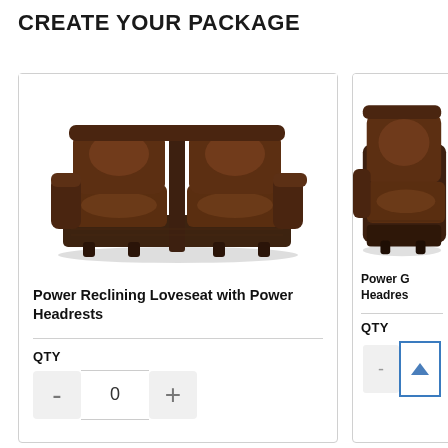CREATE YOUR PACKAGE
[Figure (photo): Dark brown leather power reclining loveseat with two seats and armrests, viewed from front]
Power Reclining Loveseat with Power Headrests
QTY
[Figure (photo): Partial view of dark brown leather recliner chair, right side cropped]
Power G Headres
QTY